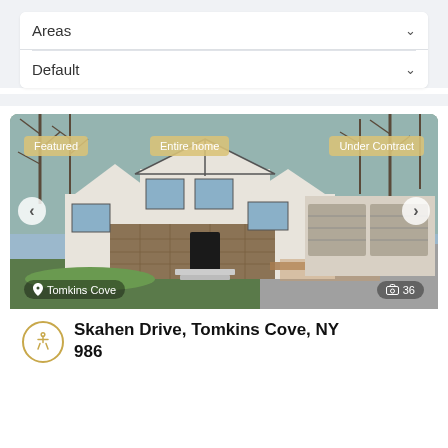Areas
Default
[Figure (photo): Exterior photo of a large two-story white and stone house with attached garage, green lawn, wooden deck with red chairs, bare trees in background. Badges: Featured, Entire home, Under Contract. Location: Tomkins Cove. Photo count: 36.]
Skahen Drive, Tomkins Cove, NY 986